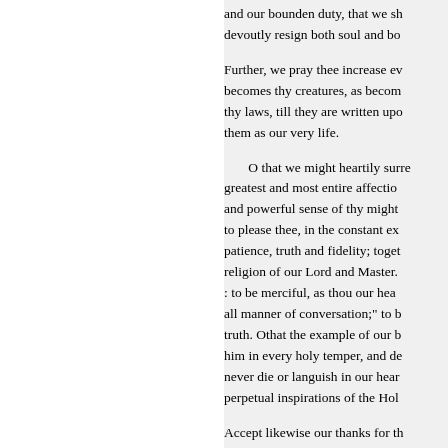and our bounden duty, that we sh... devoutly resign both soul and bo...
Further, we pray thee increase ev... becomes thy creatures, as becom... thy laws, till they are written upo... them as our very life.
O that we might heartily surre... greatest and most entire affectio... and powerful sense of thy might... to please thee, in the constant ex... patience, truth and fidelity; toget... religion of our Lord and Master. : to be merciful, as thou our hea... all manner of conversation;" to b... truth. Othat the example of our b... him in every holy temper, and de... never die or languish in our hear... perpetual inspirations of the Hol...
Accept likewise our thanks for th... ourselves unto thee this night. De... with our bodies, in the morning, the day long to an unwearied dili...